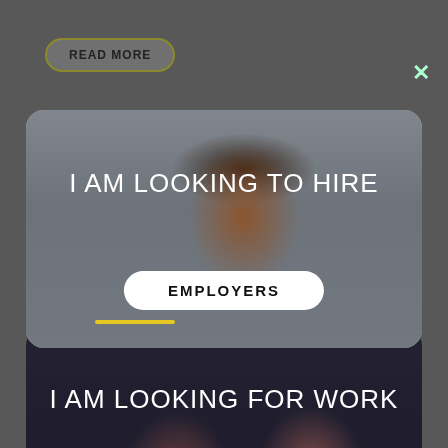READ MORE
✕
[Figure (photo): Woman in red floral dress at computer, smiling, with text overlay 'I AM LOOKING TO HIRE' and EMPLOYERS button]
[Figure (photo): Two young women smiling/laughing, bokeh background, with text overlay 'I AM LOOKING FOR WORK' and CANDIDATES button]